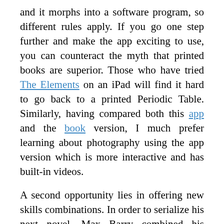and it morphs into a software program, so different rules apply. If you go one step further and make the app exciting to use, you can counteract the myth that printed books are superior. Those who have tried The Elements on an iPad will find it hard to go back to a printed Periodic Table. Similarly, having compared both this app and the book version, I much prefer learning about photography using the app version which is more interactive and has built-in videos.
A second opportunity lies in offering new skills combinations. In order to serialize his next novel, Max Barry combined his computer programming expertise with a passion for